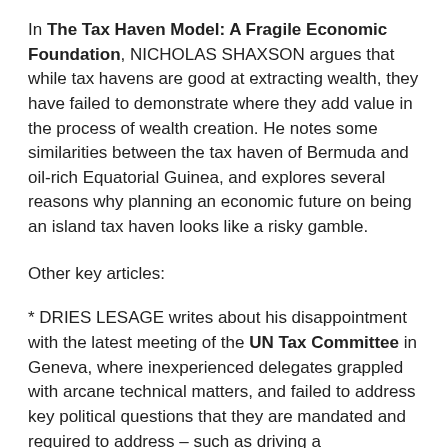In The Tax Haven Model: A Fragile Economic Foundation, NICHOLAS SHAXSON argues that while tax havens are good at extracting wealth, they have failed to demonstrate where they add value in the process of wealth creation. He notes some similarities between the tax haven of Bermuda and oil-rich Equatorial Guinea, and explores several reasons why planning an economic future on being an island tax haven looks like a risky gamble.
Other key articles:
* DRIES LESAGE writes about his disappointment with the latest meeting of the UN Tax Committee in Geneva, where inexperienced delegates grappled with arcane technical matters, and failed to address key political questions that they are mandated and required to address – such as driving a development-centred global tax agenda forwards, ahead of the Financing for Development (FfD) conference in Doha in November-December 2008.
* JOHN CHRISTENSEN summarises a research paper